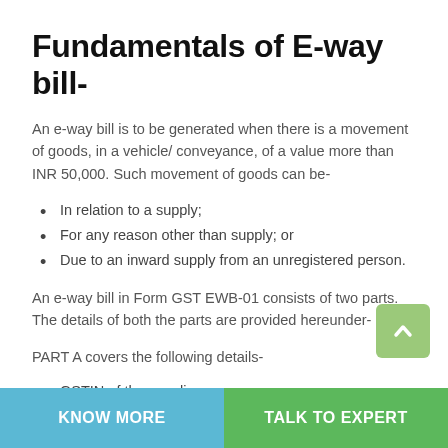Fundamentals of E-way bill-
An e-way bill is to be generated when there is a movement of goods, in a vehicle/ conveyance, of a value more than INR 50,000. Such movement of goods can be-
In relation to a supply;
For any reason other than supply; or
Due to an inward supply from an unregistered person.
An e-way bill in Form GST EWB-01 consists of two parts. The details of both the parts are provided hereunder-
PART A covers the following details-
GSTIN of the supplier;
Place of Dispatch;
GSTIN of the Recipient...
KNOW MORE | TALK TO EXPERT